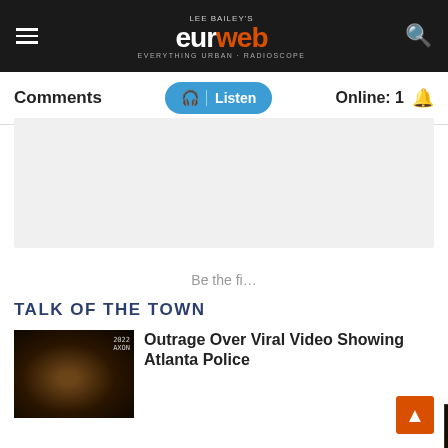Lee Bailey's EURweb — Everything Urban + Radioscope
Comments | Listen | Online: 1
[Figure (other): Grey advertisement placeholder block]
Be the fi...
[Figure (other): Video error overlay: The media could not be loaded, either because the server or network failed or because the format is not supported.]
TALK OF THE TOWN
[Figure (photo): Thumbnail of person with colorful headwrap on dark background, labeled 2022 AXON]
Outrage Over Viral Video Showing Atlanta Police